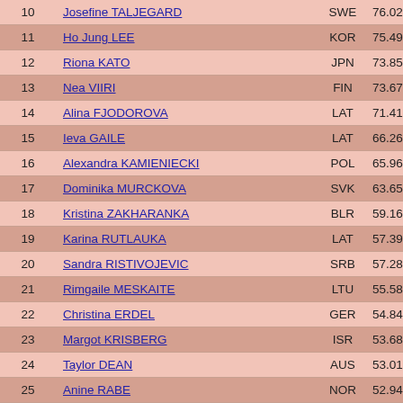| Rank | Name | NOC | Score |
| --- | --- | --- | --- |
| 10 | Josefine TALJEGARD | SWE | 76.02 |
| 11 | Ho Jung LEE | KOR | 75.49 |
| 12 | Riona KATO | JPN | 73.85 |
| 13 | Nea VIIRI | FIN | 73.67 |
| 14 | Alina FJODOROVA | LAT | 71.41 |
| 15 | Ieva GAILE | LAT | 66.26 |
| 16 | Alexandra KAMIENIECKI | POL | 65.96 |
| 17 | Dominika MURCKOVA | SVK | 63.65 |
| 18 | Kristina ZAKHARANKA | BLR | 59.16 |
| 19 | Karina RUTLAUKA | LAT | 57.39 |
| 20 | Sandra RISTIVOJEVIC | SRB | 57.28 |
| 21 | Rimgaile MESKAITE | LTU | 55.58 |
| 22 | Christina ERDEL | GER | 54.84 |
| 23 | Margot KRISBERG | ISR | 53.68 |
| 24 | Taylor DEAN | AUS | 53.01 |
| 25 | Anine RABE | NOR | 52.94 |
| 26 | Anais CLAES | BEL | 51.94 |
| 27 | Natascha ZANGL | AUT | 50.84 |
| 28 | Heidbjort Arney HOSKULDSDOTTIR | ISL | 48.46 |
| 29 | Sila SAYGI | TUR | 47.56 |
| 30 | Regina GLAZMAN | KAZ | 43.33 |
| 31 | Corinna Lijun LIN | TPE | 42.94 |